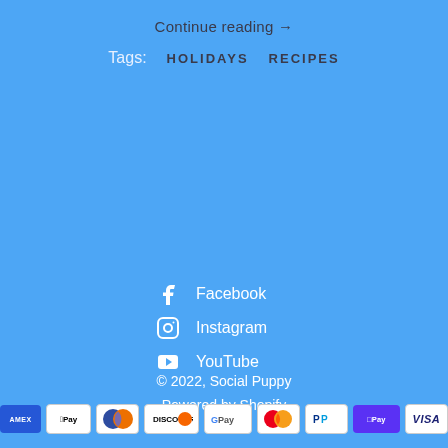Continue reading →
Tags:  HOLIDAYS  RECIPES
Facebook
Instagram
YouTube
© 2022, Social Puppy
Powered by Shopify
[Figure (other): Payment method icons: AMEX, Apple Pay, Diners Club, Discover, Google Pay, Mastercard, PayPal, Shop Pay, Visa]